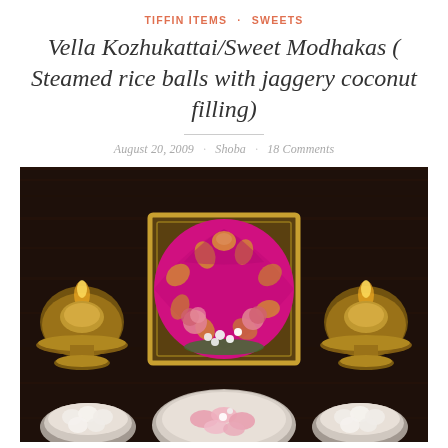TIFFIN ITEMS · SWEETS
Vella Kozhukattai/Sweet Modhakas ( Steamed rice balls with jaggery coconut filling)
August 20, 2009 · Shoba · 18 Comments
[Figure (photo): Overhead view of a Hindu puja/offering setup on a dark wooden table. Center features a decorative brass tray with a small Ganesha idol under a bright pink and gold brocade umbrella, surrounded by pink roses and white jasmine flowers. Brass oil lamps (diyas) are placed on the left and right sides on brass plates. In the foreground, a decorative silver plate holds pink and white sweets (kozhukattai), and two small white bowls on either side contain white rice ball sweets.]